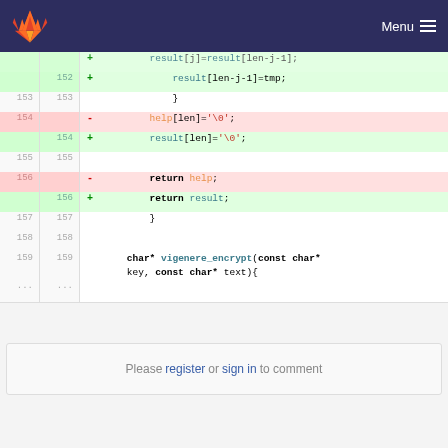GitLab logo | Menu
[Figure (screenshot): Code diff view showing lines 152-159 of a C file with additions and deletions in a GitLab-style diff viewer]
Please register or sign in to comment